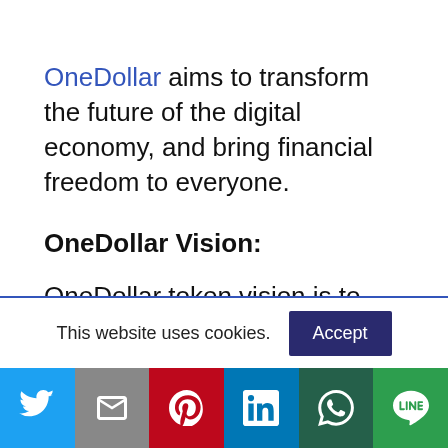OneDollar aims to transform the future of the digital economy, and bring financial freedom to everyone.
OneDollar Vision:
OneDollar token vision is to transform the future of the digital economy, and bring financial freedom to
This website uses cookies.
[Figure (other): Social sharing bar with Twitter, Gmail, Pinterest, LinkedIn, WhatsApp, and LINE buttons]